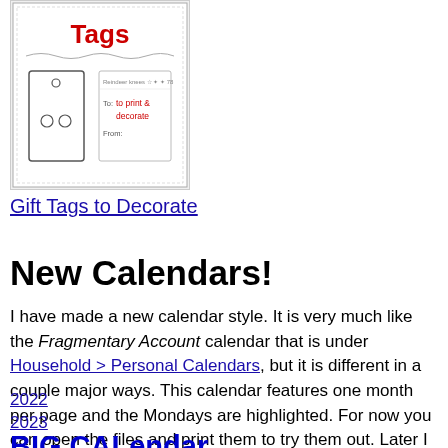[Figure (illustration): Hand-drawn stamp-style image showing gift tags to print and decorate, with text 'Tags', 'Reindeer knees', 'To: to print & decorate', 'From:']
Gift Tags to Decorate
New Calendars!
I have made a new calendar style. It is very much like the Fragmentary Account calendar that is under Household > Personal Calendars, but it is different in a couple major ways. This calendar features one month per page and the Mondays are highlighted. For now you can open the files and print them to try them out. Later I will finalize the important decisions regarding this style and the files will be located somewhere on the website. Below are two files, one for 2022 and one for 2023.
2022
2023
BIG CALendar